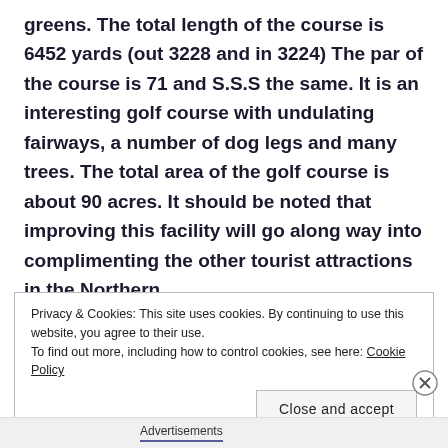greens. The total length of the course is 6452 yards (out 3228 and in 3224) The par of the course is 71 and S.S.S the same. It is an interesting golf course with undulating fairways, a number of dog legs and many trees. The total area of the golf course is about 90 acres. It should be noted that improving this facility will go along way into complimenting the other tourist attractions in the Northern
Privacy & Cookies: This site uses cookies. By continuing to use this website, you agree to their use.
To find out more, including how to control cookies, see here: Cookie Policy
Advertisements